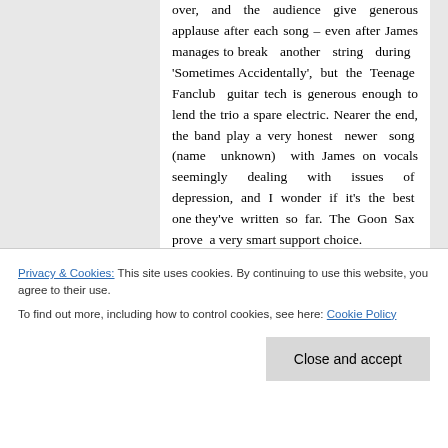over, and the audience give generous applause after each song – even after James manages to break another string during 'Sometimes Accidentally', but the Teenage Fanclub guitar tech is generous enough to lend the trio a spare electric. Nearer the end, the band play a very honest newer song (name unknown) with James on vocals seemingly dealing with issues of depression, and I wonder if it's the best one they've written so far. The Goon Sax prove a very smart support choice.
The room fills with the predicted demographic, and a five member Teenage Fanclub appear at a respectable 9:30 pm and immediately launch
Privacy & Cookies: This site uses cookies. By continuing to use this website, you agree to their use.
To find out more, including how to control cookies, see here: Cookie Policy
Close and accept
I'm personally happy when they launch into probably my favourite Fannies song 'Don't Look